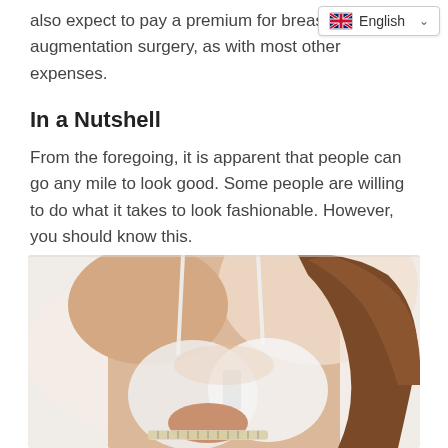also expect to pay a premium for breast augmentation surgery, as with most other expenses.
In a Nutshell
From the foregoing, it is apparent that people can go any mile to look good. Some people are willing to do what it takes to look fashionable. However, you should know this.
[Figure (photo): A woman in a white bra measuring her chest with a tape measure, cropped from shoulders to torso against a light background.]